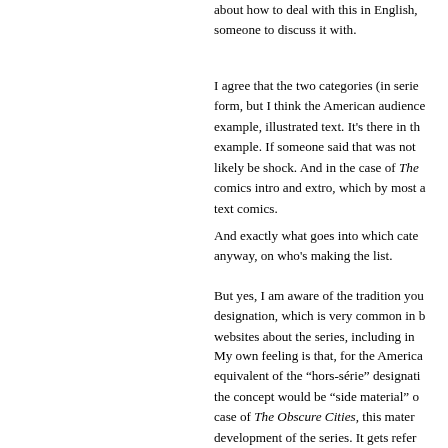about how to deal with this in English, someone to discuss it with.
I agree that the two categories (in series form, but I think the American audience example, illustrated text. It's there in th example. If someone said that was not likely be shock. And in the case of The comics intro and extro, which by most a text comics.
And exactly what goes into which cate anyway, on who's making the list.
But yes, I am aware of the tradition you designation, which is very common in b websites about the series, including in
My own feeling is that, for the America equivalent of the “hors-série” designati the concept would be “side material” o case of The Obscure Cities, this mater development of the series. It gets refer certain concepts build chronologically t